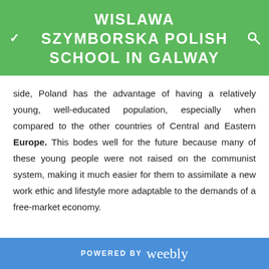WISLAWA SZYMBORSKA POLISH SCHOOL IN GALWAY
side, Poland has the advantage of having a relatively young, well-educated population, especially when compared to the other countries of Central and Eastern Europe. This bodes well for the future because many of these young people were not raised on the communist system, making it much easier for them to assimilate a new work ethic and lifestyle more adaptable to the demands of a free-market economy.
POWERED BY weebly